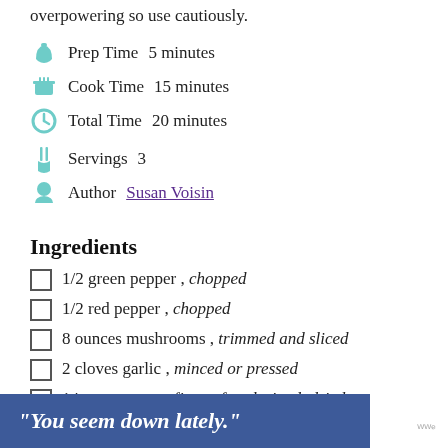overpowering so use cautiously.
Prep Time  5 minutes
Cook Time  15 minutes
Total Time  20 minutes
Servings  3
Author  Susan Voisin
Ingredients
1/2 green pepper , chopped
1/2 red pepper , chopped
8 ounces mushrooms , trimmed and sliced
2 cloves garlic , minced or pressed
14 ounces extra-firm tofu , drained, dried
"You seem down lately."